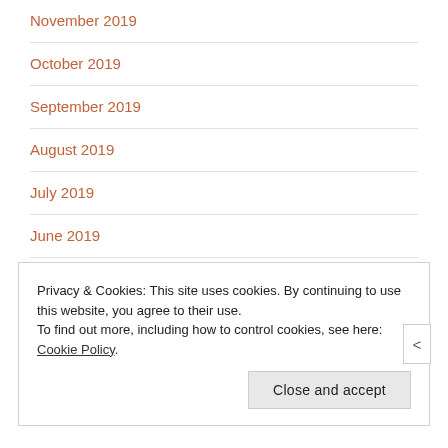November 2019
October 2019
September 2019
August 2019
July 2019
June 2019
May 2019
Privacy & Cookies: This site uses cookies. By continuing to use this website, you agree to their use.
To find out more, including how to control cookies, see here: Cookie Policy